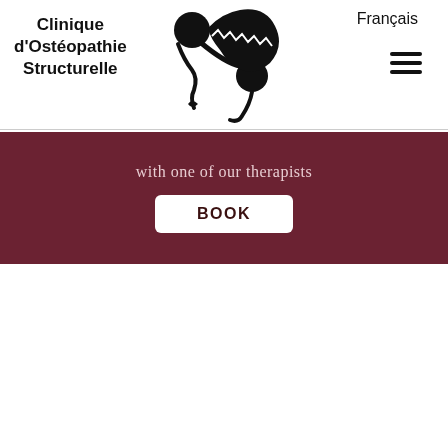Français
Clinique d'Ostéopathie Structurelle
[Figure (logo): Black illustrated logo of a spine/skeletal figure with maracas-like elements]
with one of our therapists
BOOK